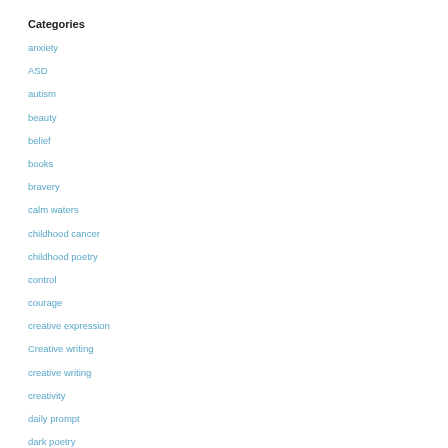Categories
anxiety
ASD
autism
beauty
belief
books
bravery
calm waters
childhood cancer
childhood poetry
control
courage
creative expression
Creative writing
creative writing
creativity
daily prompt
dark poetry
dystopian
divergent
dreams
empathic
empathy
erotic poetry
erotic writing
escapism
facebook
fairytales
families
family
fantasy poetry
fear
female
follow